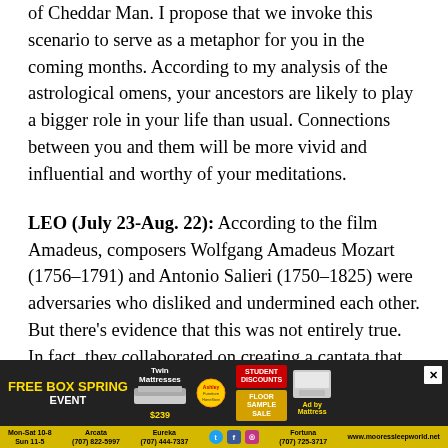of Cheddar Man. I propose that we invoke this scenario to serve as a metaphor for you in the coming months. According to my analysis of the astrological omens, your ancestors are likely to play a bigger role in your life than usual. Connections between you and them will be more vivid and influential and worthy of your meditations.
LEO (July 23-Aug. 22): According to the film Amadeus, composers Wolfgang Amadeus Mozart (1756–1791) and Antonio Salieri (1750–1825) were adversaries who disliked and undermined each other. But there's evidence that this was not entirely true. In fact, they collaborated on creating a cantata that was performed by Nancy Storace, a famous singer they both admired. It's unlikely they would have cooperated in such a way unless they had a working relationship. I suggest that you would...
[Figure (infographic): Advertisement banner for Moore's Sleep World 'Free Box Spring Event' showing mattress deals, social media icons, and store contact information.]